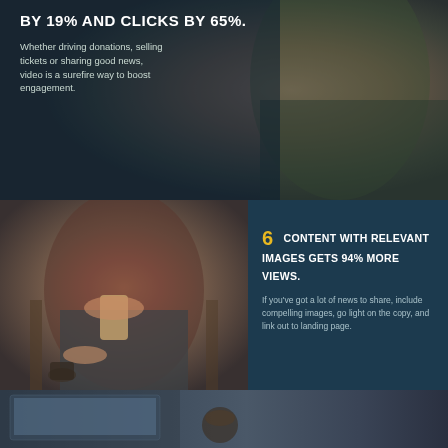BY 19% AND CLICKS BY 65%.
Whether driving donations, selling tickets or sharing good news, video is a surefire way to boost engagement.
[Figure (photo): Person using laptop and phone on outdoor table]
5  56% OF PEOPLE UNSUBSCRIBE FROM EMAILS DUE TO IRRELEVANT CONTENT.
Segmenting and targeting are super important. Your audience expects relevant content – and if they don't get it, they're gone.
[Figure (photo): Person sitting on chair using smartphone]
6  CONTENT WITH RELEVANT IMAGES GETS 94% MORE VIEWS.
If you've got a lot of news to share, include compelling images, go light on the copy, and link out to landing page.
[Figure (photo): Laptop and coffee cup on desk, bottom strip]